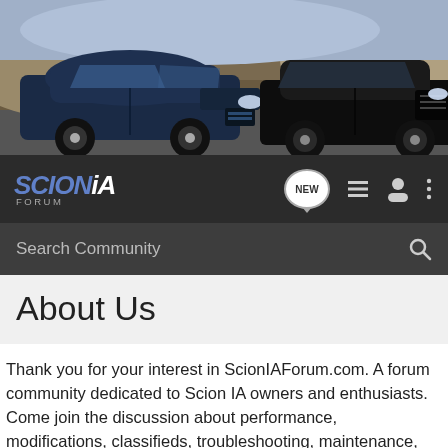[Figure (photo): Hero banner showing two dark Scion iA cars on a road, one dark blue on the left and one black on the right, against a rocky outdoor background.]
SCION iA FORUM — Navigation bar with logo, NEW chat bubble, list icon, user icon, and more icon
Search Community
About Us
Thank you for your interest in ScionIAForum.com. A forum community dedicated to Scion IA owners and enthusiasts. Come join the discussion about performance, modifications, classifieds, troubleshooting, maintenance, and more!
Who are We?
ScionIAForum.com was started by a group of enthusiasts that shared a common passion for Scion IA. Over the years, the site